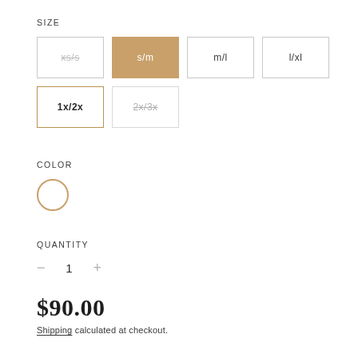SIZE
xs/s (unavailable), s/m (selected), m/l, l/xl, 1x/2x (highlighted), 2x/3x (unavailable)
COLOR
[Figure (other): White color swatch circle with gold border]
QUANTITY
— 1 +
$90.00
Shipping calculated at checkout.